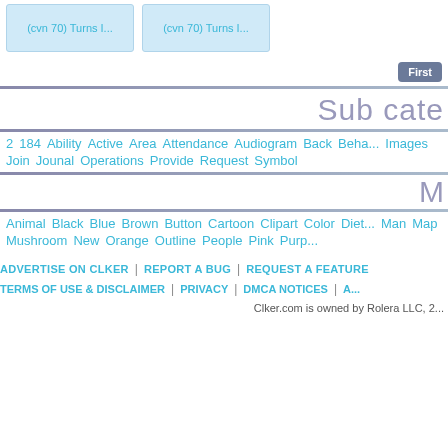[Figure (screenshot): Two blue card thumbnails labeled '(cvn 70) Turns I...']
First
Sub cate
2  184  Ability  Active  Area  Attendance  Audiogram  Back  Beha...  Images  Join  Jounal  Operations  Provide  Request  Symbol
M
Animal  Black  Blue  Brown  Button  Cartoon  Clipart  Color  Diet...  Man  Map  Mushroom  New  Orange  Outline  People  Pink  Purp...
ADVERTISE ON CLKER | REPORT A BUG | REQUEST A FEATURE
TERMS OF USE & DISCLAIMER | PRIVACY | DMCA NOTICES | A...
Clker.com is owned by Rolera LLC, 2...